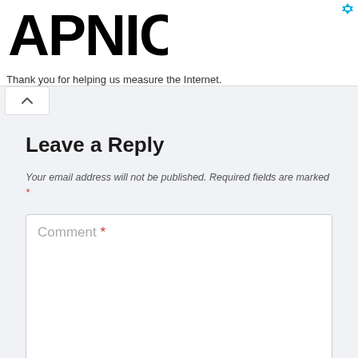APNIC — Thank you for helping us measure the Internet.
[Figure (logo): APNIC logo in large bold black text]
Thank you for helping us measure the Internet.
Leave a Reply
Your email address will not be published. Required fields are marked *
Comment *